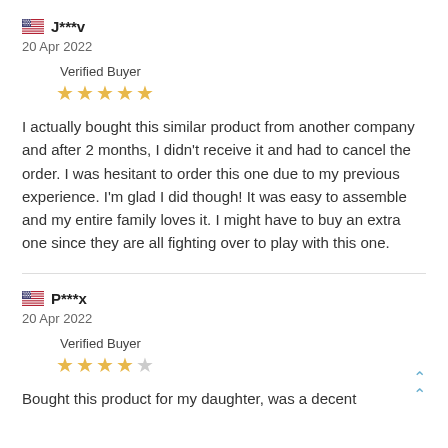J***v
20 Apr 2022
Verified Buyer
★★★★★
I actually bought this similar product from another company and after 2 months, I didn't receive it and had to cancel the order. I was hesitant to order this one due to my previous experience. I'm glad I did though! It was easy to assemble and my entire family loves it. I might have to buy an extra one since they are all fighting over to play with this one.
P***x
20 Apr 2022
Verified Buyer
★★★★☆
Bought this product for my daughter, was a decent